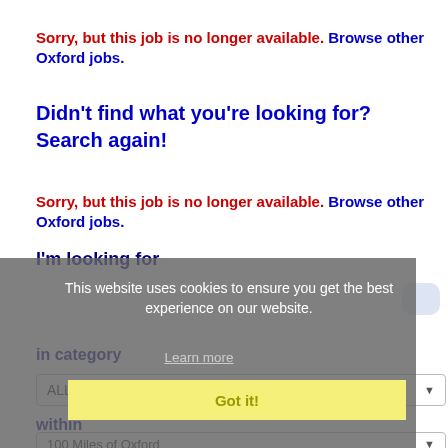Sorry, but this job is no longer available. Browse other Oxford jobs.
Didn't find what you're looking for? Search again!
Sorry, but this job is no longer available. Browse other Oxford jobs.
I'm looking for
This website uses cookies to ensure you get the best experience on our website.
Learn more
in category
ALL
Got it!
within
100 Miles of Oxford